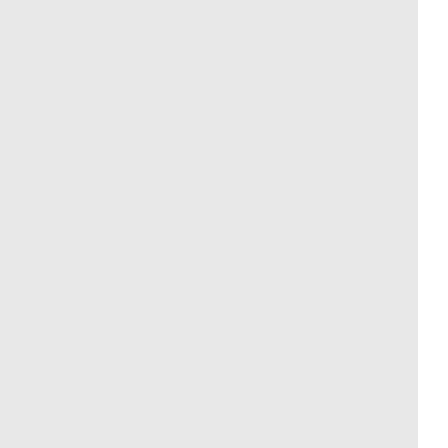| Number | State | Name | Code |
| --- | --- | --- | --- |
| 253-680-5 | WA | QWEST CORPORATION | 96 |
| 253-680-6 | WA | QWEST CORPORATION | 96 |